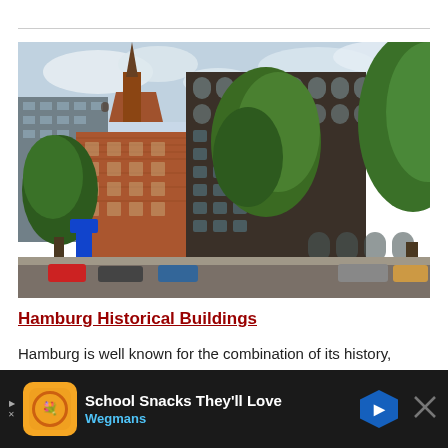[Figure (photo): Street-level photograph of Hamburg historical buildings showing red brick architecture with a church spire on the left, a multi-story dark commercial building in the center, green trees in the foreground, and cars parked along the street.]
Hamburg Historical Buildings
Hamburg is well known for the combination of its history, culture and the aspects of modern life in its architecture. Th... u... ts of the
[Figure (other): Advertisement banner at bottom: School Snacks They'll Love - Wegmans, with orange circular logo, play button, blue diamond arrow icon, and close X button on dark background.]